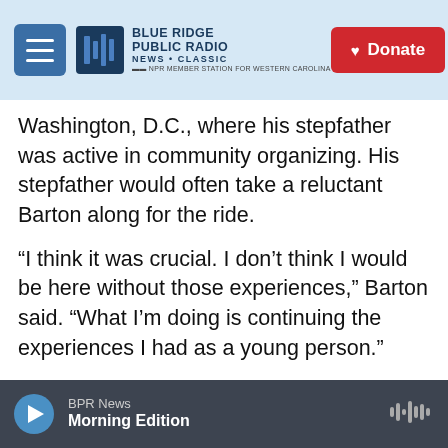Blue Ridge Public Radio — NEWS + CLASSIC | Donate
Washington, D.C., where his stepfather was active in community organizing. His stepfather would often take a reluctant Barton along for the ride.
“I think it was crucial. I don’t think I would be here without those experiences,” Barton said. “What I’m doing is continuing the experiences I had as a young person.”
As a teenager, Barton felt the inertia of drug culture pulling in other young people from his neighborhood, so to escape, after high school, he joined the U.S. Navy. He went overseas in a non-
BPR News — Morning Edition